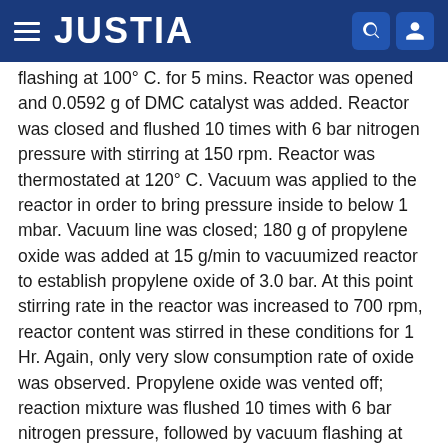JUSTIA
flashing at 100° C. for 5 mins. Reactor was opened and 0.0592 g of DMC catalyst was added. Reactor was closed and flushed 10 times with 6 bar nitrogen pressure with stirring at 150 rpm. Reactor was thermostated at 120° C. Vacuum was applied to the reactor in order to bring pressure inside to below 1 mbar. Vacuum line was closed; 180 g of propylene oxide was added at 15 g/min to vacuumized reactor to establish propylene oxide of 3.0 bar. At this point stirring rate in the reactor was increased to 700 rpm, reactor content was stirred in these conditions for 1 Hr. Again, only very slow consumption rate of oxide was observed. Propylene oxide was vented off; reaction mixture was flushed 10 times with 6 bar nitrogen pressure, followed by vacuum flashing at 100° C. for 5 mins. Reactor was opened and an additional 0.0592 g of DMC catalyst was added. Reactor was closed and flushed 10 times with 6 bar